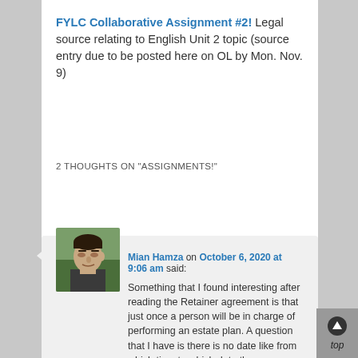FYLC Collaborative Assignment #2! Legal source relating to English Unit 2 topic (source entry due to be posted here on OL by Mon. Nov. 9)
2 THOUGHTS ON "ASSIGNMENTS!"
[Figure (photo): Profile photo of a young man outdoors with green foliage background]
Mian Hamza on October 6, 2020 at 9:06 am said: Something that I found interesting after reading the Retainer agreement is that just once a person will be in charge of performing an estate plan. A question that I have is there is no date like from which time to which date the agreement will be